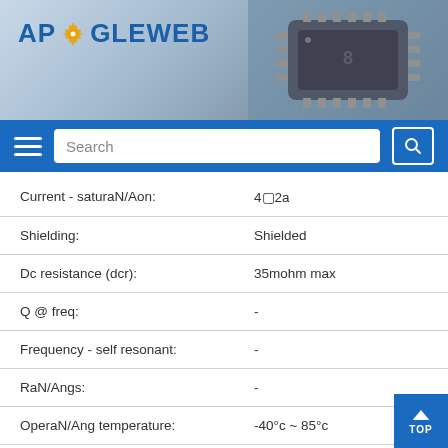[Figure (screenshot): APOGEEWEB website header with logo on blue-grey chip background]
| Property | Value |
| --- | --- |
| Current - saturaN/Aon: | 4□2a |
| Shielding: | Shielded |
| Dc resistance (dcr): | 35mohm max |
| Q @ freq: | - |
| Frequency - self resonant: | - |
| RaN/Angs: | - |
| OperaN/Ang temperature: | -40°c ~ 85°c |
| Inductance frequency - | 1mhz |